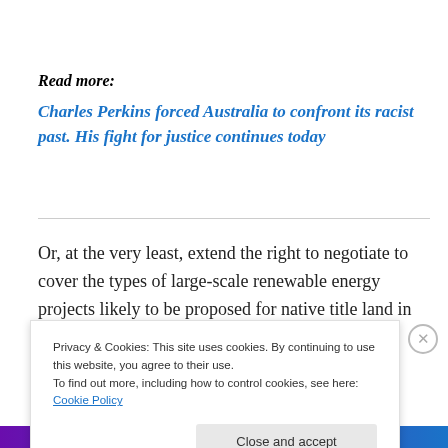Read more:
Charles Perkins forced Australia to confront its racist past. His fight for justice continues today
Or, at the very least, extend the right to negotiate to cover the types of large-scale renewable energy projects likely to be proposed for native title land in coming decades.
Privacy & Cookies: This site uses cookies. By continuing to use this website, you agree to their use.
To find out more, including how to control cookies, see here: Cookie Policy